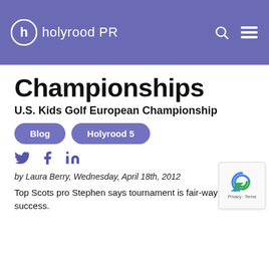holyrood PR
Championships
U.S. Kids Golf European Championship
Blog
Holyrood 5
by Laura Berry, Wednesday, April 18th, 2012
Top Scots pro Stephen says tournament is fair-way to success.